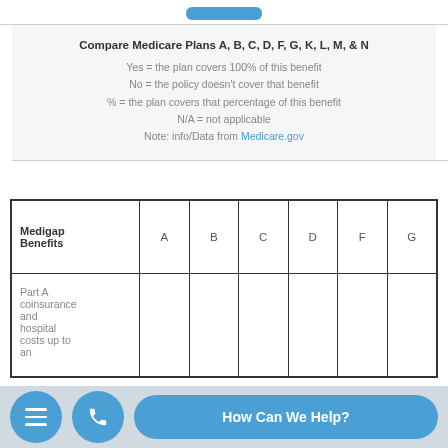Compare Medicare Plans A, B, C, D, F, G, K, L, M, & N
Yes = the plan covers 100% of this benefit
No = the policy doesn't cover that benefit
% = the plan covers that percentage of this benefit
N/A = not applicable
Note: info/Data from Medicare.gov
| Medigap Benefits | A | B | C | D | F | G |
| --- | --- | --- | --- | --- | --- | --- |
| Part A coinsurance and hospital costs up to an … |  |  |  |  |  |  |